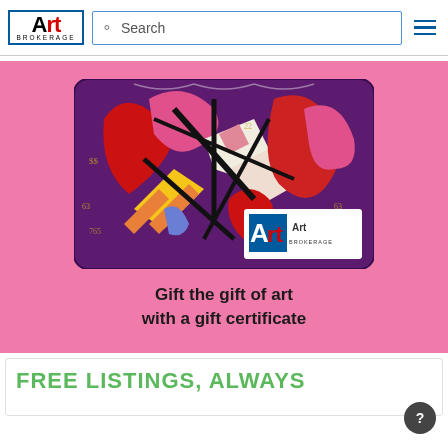Art Brokerage — Search
[Figure (illustration): Art Brokerage gift card with colorful pop-art heart design (reds, pinks, purples, yellows) and Art Brokerage logo in bottom right corner, displayed on a pink background]
Gift the gift of art
with a gift certificate
FREE LISTINGS, ALWAYS